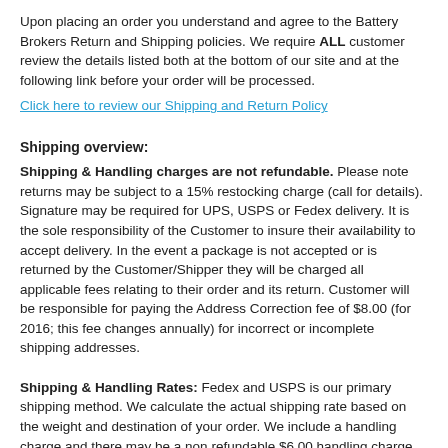Upon placing an order you understand and agree to the Battery Brokers Return and Shipping policies. We require ALL customer review the details listed both at the bottom of our site and at the following link before your order will be processed.
Click here to review our Shipping and Return Policy
Shipping overview:
Shipping & Handling charges are not refundable. Please note returns may be subject to a 15% restocking charge (call for details). Signature may be required for UPS, USPS or Fedex delivery. It is the sole responsibility of the Customer to insure their availability to accept delivery. In the event a package is not accepted or is returned by the Customer/Shipper they will be charged all applicable fees relating to their order and its return. Customer will be responsible for paying the Address Correction fee of $8.00 (for 2016; this fee changes annually) for incorrect or incomplete shipping addresses.
Shipping & Handling Rates: Fedex and USPS is our primary shipping method. We calculate the actual shipping rate based on the weight and destination of your order. We include a handling charge and there may be a non refundable $6.00 handling charge on orders below $50.00 for merchandise. Shipping charges may be paid by us for larger orders reaching certain quantities.